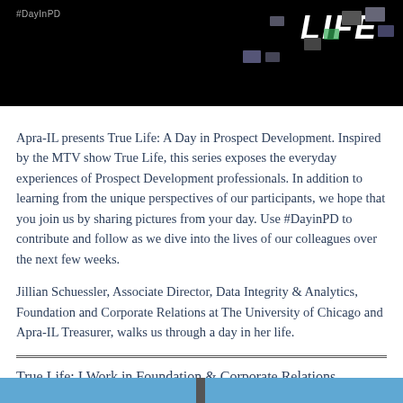[Figure (screenshot): Black banner image with #DayInPD hashtag text in upper left, bold italic white text 'LIFE' in upper right, and scattered small photo thumbnails in the center area.]
Apra-IL presents True Life: A Day in Prospect Development. Inspired by the MTV show True Life, this series exposes the everyday experiences of Prospect Development professionals. In addition to learning from the unique perspectives of our participants, we hope that you join us by sharing pictures from your day. Use #DayinPD to contribute and follow as we dive into the lives of our colleagues over the next few weeks.
Jillian Schuessler, Associate Director, Data Integrity & Analytics, Foundation and Corporate Relations at The University of Chicago and Apra-IL Treasurer, walks us through a day in her life.
True Life: I Work in Foundation & Corporate Relations
[Figure (screenshot): Bottom strip with blue background, partially visible, split by a dark vertical divider in the center.]